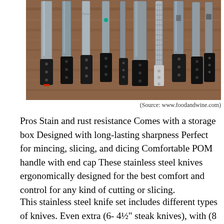[Figure (photo): Multiple kitchen knives of various sizes laid flat on a wooden cutting board, all with black handles pointing downward, photographed from above.]
(Source: www.foodandwine.com)
Pros Stain and rust resistance Comes with a storage box Designed with long-lasting sharpness Perfect for mincing, slicing, and dicing Comfortable POM handle with end cap These stainless steel knives ergonomically designed for the best comfort and control for any kind of cutting or slicing.
This stainless steel knife set includes different types of knives. Even extra (6- 4½″ steak knives), with (8 kitchen scissors), 8 sharpener with acrylic